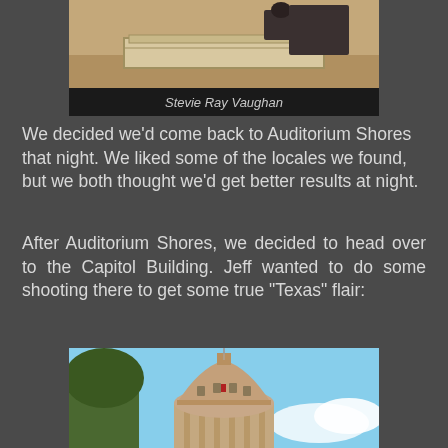[Figure (photo): Photo of the Stevie Ray Vaughan statue or memorial, showing a stone/marble base structure outdoors on sandy ground]
Stevie Ray Vaughan
We decided we'd come back to Auditorium Shores that night. We liked some of the locales we found, but we both thought we'd get better results at night.
After Auditorium Shores, we decided to head over to the Capitol Building. Jeff wanted to do some shooting there to get some true "Texas" flair:
[Figure (photo): Photo of the Texas State Capitol Building dome against a blue sky with trees visible on the left side]